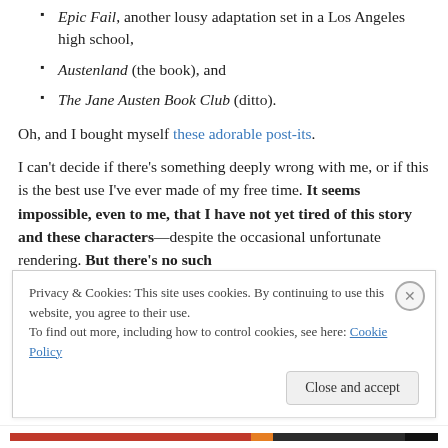Epic Fail, another lousy adaptation set in a Los Angeles high school,
Austenland (the book), and
The Jane Austen Book Club (ditto).
Oh, and I bought myself these adorable post-its.
I can't decide if there's something deeply wrong with me, or if this is the best use I've ever made of my free time. It seems impossible, even to me, that I have not yet tired of this story and these characters—despite the occasional unfortunate rendering. But there's no such
Privacy & Cookies: This site uses cookies. By continuing to use this website, you agree to their use.
To find out more, including how to control cookies, see here: Cookie Policy
Close and accept